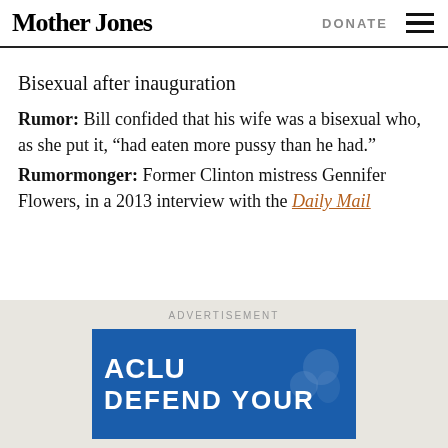Mother Jones | DONATE
Bisexual after inauguration
Rumor: Bill confided that his wife was a bisexual who, as she put it, “had eaten more pussy than he had.” Rumormonger: Former Clinton mistress Gennifer Flowers, in a 2013 interview with the Daily Mail
[Figure (other): ACLU advertisement banner: blue background with ACLU text and DEFEND YOUR text visible, with a decorative icon on the right]